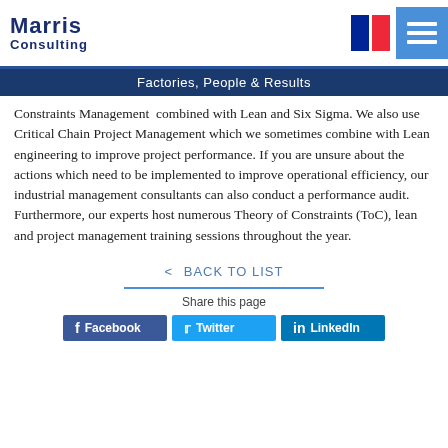Marris Consulting — Factories, People & Results
Constraints Management combined with Lean and Six Sigma. We also use Critical Chain Project Management which we sometimes combine with Lean engineering to improve project performance. If you are unsure about the actions which need to be implemented to improve operational efficiency, our industrial management consultants can also conduct a performance audit. Furthermore, our experts host numerous Theory of Constraints (ToC), lean and project management training sessions throughout the year.
< BACK TO LIST
Share this page
Facebook Twitter LinkedIn